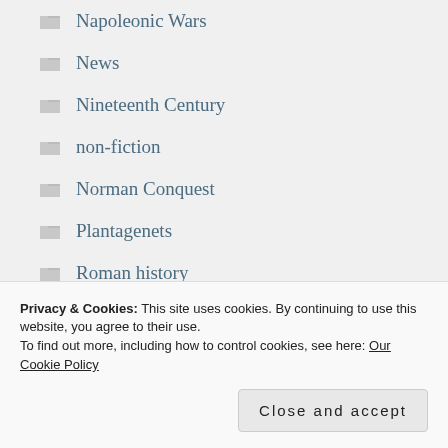Napoleonic Wars
News
Nineteenth Century
non-fiction
Norman Conquest
Plantagenets
Roman history
Scottish history
Seventeenth century
Stuart era
Privacy & Cookies: This site uses cookies. By continuing to use this website, you agree to their use. To find out more, including how to control cookies, see here: Our Cookie Policy
Close and accept